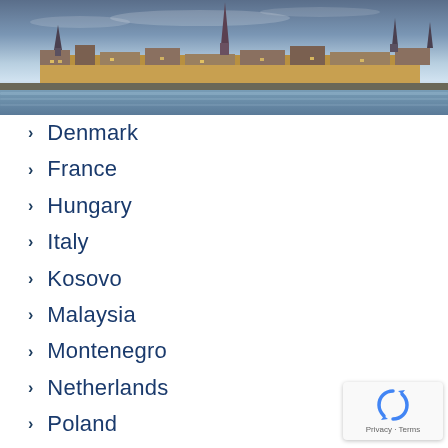[Figure (photo): Aerial/panoramic cityscape photograph of a European waterfront city skyline at dusk, with church spires, historic buildings, and a calm harbor reflecting lights.]
Denmark
France
Hungary
Italy
Kosovo
Malaysia
Montenegro
Netherlands
Poland
Portugal
Serbia
Slovenia
Spain